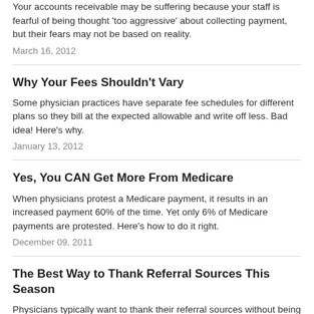Your accounts receivable may be suffering because your staff is fearful of being thought 'too aggressive' about collecting payment, but their fears may not be based on reality.
March 16, 2012
Why Your Fees Shouldn't Vary
Some physician practices have separate fee schedules for different plans so they bill at the expected allowable and write off less. Bad idea! Here's why.
January 13, 2012
Yes, You CAN Get More From Medicare
When physicians protest a Medicare payment, it results in an increased payment 60% of the time. Yet only 6% of Medicare payments are protested. Here's how to do it right.
December 09, 2011
The Best Way to Thank Referral Sources This Season
Physicians typically want to thank their referral sources without being accused of bribes or kickbacks. What gifts can make you stand out from the crowd without landing you in hot water?